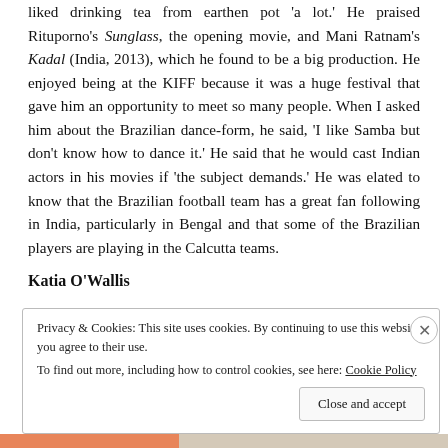liked drinking tea from earthen pot 'a lot.' He praised Rituporno's Sunglass, the opening movie, and Mani Ratnam's Kadal (India, 2013), which he found to be a big production. He enjoyed being at the KIFF because it was a huge festival that gave him an opportunity to meet so many people. When I asked him about the Brazilian dance-form, he said, 'I like Samba but don't know how to dance it.' He said that he would cast Indian actors in his movies if 'the subject demands.' He was elated to know that the Brazilian football team has a great fan following in India, particularly in Bengal and that some of the Brazilian players are playing in the Calcutta teams.
Katia O'Wallis
Privacy & Cookies: This site uses cookies. By continuing to use this website, you agree to their use. To find out more, including how to control cookies, see here: Cookie Policy